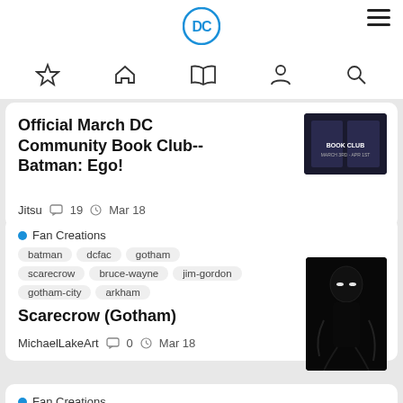[Figure (logo): DC Comics circular logo with 'DC' text in blue]
Navigation bar with star, home, book, person, search icons and hamburger menu
Official March DC Community Book Club--Batman: Ego!
Jitsu  19  Mar 18
Fan Creations
batman  dcfac  gotham  scarecrow  bruce-wayne  jim-gordon  gotham-city  arkham
Scarecrow (Gotham)
MichaelLakeArt  0  Mar 18
Fan Creations